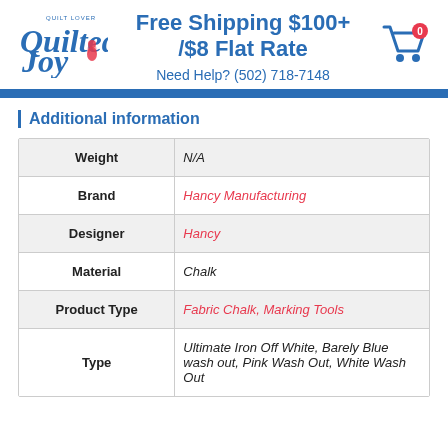Free Shipping $100+ /$8 Flat Rate
Need Help? (502) 718-7148
Additional information
|  |  |
| --- | --- |
| Weight | N/A |
| Brand | Hancy Manufacturing |
| Designer | Hancy |
| Material | Chalk |
| Product Type | Fabric Chalk, Marking Tools |
| Type | Ultimate Iron Off White, Barely Blue wash out, Pink Wash Out, White Wash Out |